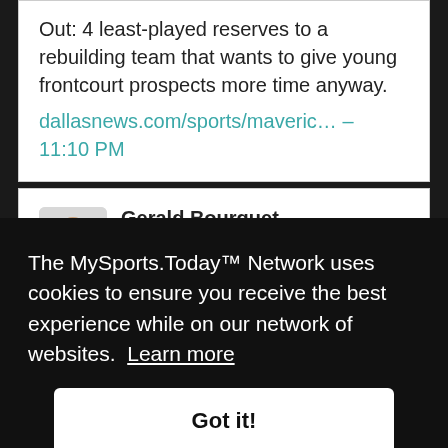Out: 4 least-played reserves to a rebuilding team that wants to give young frontcourt prospects more time anyway. dallasnews.com/sports/maveric… – 11:10 PM
[Figure (illustration): Twitter/social media post by Gerald Bourguet (@GeraldBourguet) with avatar illustration, text reading: The Mavs will be that much more dangerous in the West if Christian Wood can figure it out, but there's also a reason...]
asking price of a first-round pick, Houston
The MySports.Today™ Network uses cookies to ensure you receive the best experience while on our network of websites. Learn more
Got it!